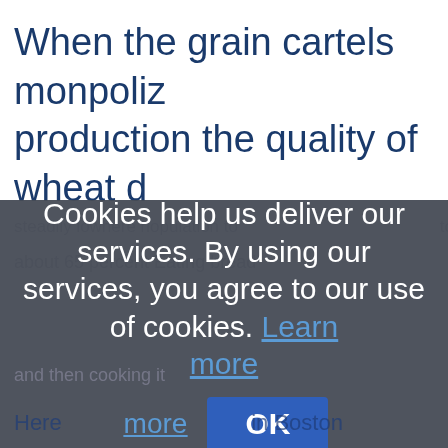When the grain cartels monpoliz... production the quality of wheat d...
steadily lowhere population to... about 65 percent Eating bread...
[Figure (screenshot): Cookie consent overlay dialog with dark semi-transparent background displaying: 'Cookies help us deliver our services. By using our services, you agree to our use of cookies. Learn more' with a blue 'Learn more' hyperlink, and an 'OK' button in blue.]
and then cooking it
Here ... in Boston